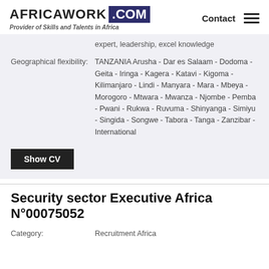AFRICAWORK.COM - Provider of Skills and Talents in Africa | Contact
expert, leadership, excel knowledge
Geographical flexibility: TANZANIA Arusha - Dar es Salaam - Dodoma - Geita - Iringa - Kagera - Katavi - Kigoma - Kilimanjaro - Lindi - Manyara - Mara - Mbeya - Morogoro - Mtwara - Mwanza - Njombe - Pemba - Pwani - Rukwa - Ruvuma - Shinyanga - Simiyu - Singida - Songwe - Tabora - Tanga - Zanzibar - International
Show CV
Security sector Executive Africa N°00075052
Category: Recruitment Africa